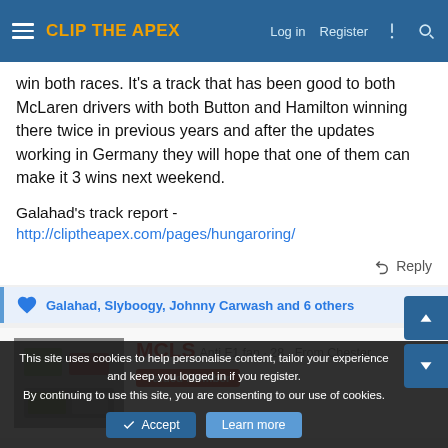CLIP THE APEX — navigation bar with Log in, Register, and icon links
win both races. It's a track that has been good to both McLaren drivers with both Button and Hamilton winning there twice in previous years and after the updates working in Germany they will hope that one of them can make it 3 wins next weekend.
Galahad's track report -
http://cliptheapex.com/pages/hungaroring/
Reply
Galahad, Slyboogy, Johnny Carwash and 6 others
MCLS Anti F1 fan · 28 · From Chester
Valued Member
This site uses cookies to help personalise content, tailor your experience and keep you logged in if you register.
By continuing to use this site, you are consenting to our use of cookies.